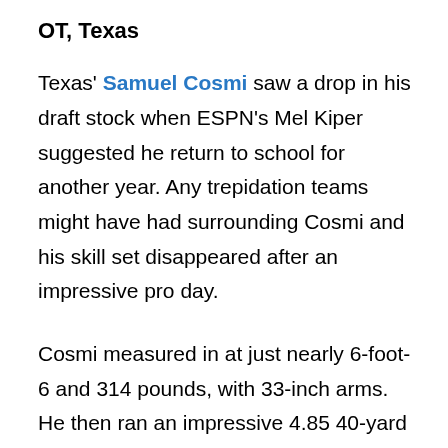OT, Texas
Texas' Samuel Cosmi saw a drop in his draft stock when ESPN's Mel Kiper suggested he return to school for another year. Any trepidation teams might have had surrounding Cosmi and his skill set disappeared after an impressive pro day.
Cosmi measured in at just nearly 6-foot-6 and 314 pounds, with 33-inch arms. He then ran an impressive 4.85 40-yard dash. Additionally, he jumped nearly 10 feet in his broad jump and 30 inches in his vertical jump.